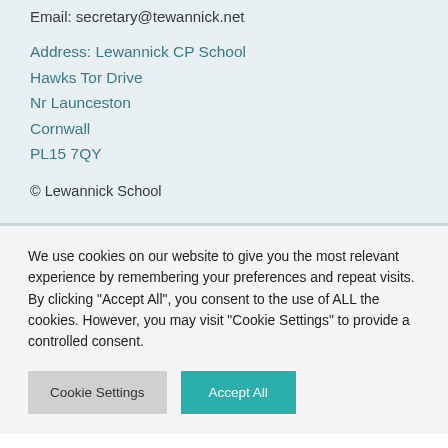Email: secretary@tewannick.net
Address: Lewannick CP School
Hawks Tor Drive
Nr Launceston
Cornwall
PL15 7QY
© Lewannick School
We use cookies on our website to give you the most relevant experience by remembering your preferences and repeat visits. By clicking "Accept All", you consent to the use of ALL the cookies. However, you may visit "Cookie Settings" to provide a controlled consent.